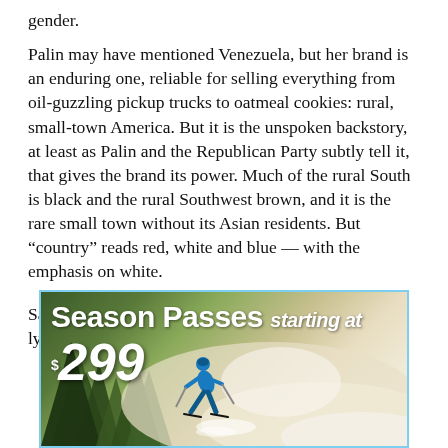gender.
Palin may have mentioned Venezuela, but her brand is an enduring one, reliable for selling everything from oil-guzzling pickup trucks to oatmeal cookies: rural, small-town America. But it is the unspoken backstory, at least as Palin and the Republican Party subtly tell it, that gives the brand its power. Much of the rural South is black and the rural Southwest brown, and it is the rare small town without its Asian residents. But “country” reads red, white and blue — with the emphasis on white.
Sarah Palin’s twangy voice sang the country-music lyrics: this “gal” and those “good ol’ boys” and — my
[Figure (infographic): Advertisement banner for Season Passes starting at $299, showing a skier in blue gear skiing down a snowy slope through trees]